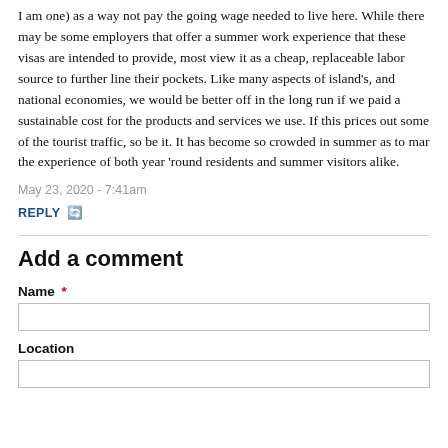I am one) as a way not pay the going wage needed to live here. While there may be some employers that offer a summer work experience that these visas are intended to provide, most view it as a cheap, replaceable labor source to further line their pockets. Like many aspects of island's, and national economies, we would be better off in the long run if we paid a sustainable cost for the products and services we use. If this prices out some of the tourist traffic, so be it. It has become so crowded in summer as to mar the experience of both year 'round residents and summer visitors alike.
May 23, 2020 - 7:41am
REPLY
Add a comment
Name *
Location